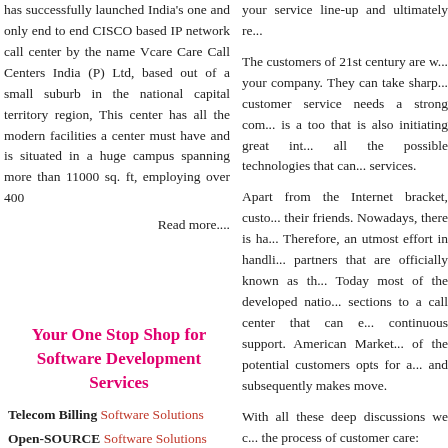has successfully launched India's one and only end to end CISCO based IP network call center by the name Vcare Care Call Centers India (P) Ltd, based out of a small suburb in the national capital territory region, This center has all the modern facilities a center must have and is situated in a huge campus spanning more than 11000 sq. ft, employing over 400
Read more....
Your One Stop Shop for Software Development Services
Telecom Billing Software Solutions
Open-SOURCE Software Solutions
E-commerce Solutions
your service line-up and ultimately re...
The customers of 21st century are w... your company. They can take sharp... customer service needs a strong com... is a too that is also initiating great int... all the possible technologies that can... services.
Apart from the Internet bracket, custo... their friends. Nowadays, there is ha... Therefore, an utmost effort in handli... partners that are officially known as th... Today most of the developed natio... sections to a call center that can e... continuous support. American Market... of the potential customers opts for a... and subsequently makes move.
With all these deep discussions we c... the process of customer care:
Business around the clock: Custo...